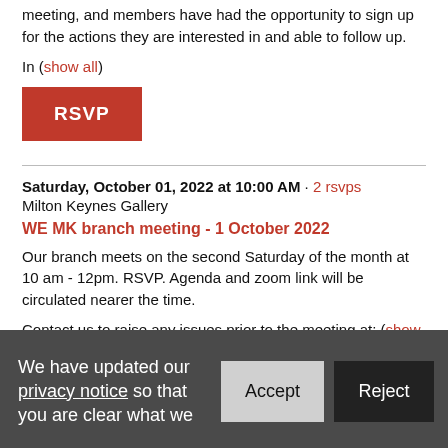meeting, and members have had the opportunity to sign up for the actions they are interested in and able to follow up.
In (show all)
[Figure (other): Red RSVP button]
Saturday, October 01, 2022 at 10:00 AM · 2 rsvps
Milton Keynes Gallery
WE MK branch meeting - 1 October 2022
Our branch meets on the second Saturday of the month at 10 am - 12pm. RSVP. Agenda and zoom link will be circulated nearer the time.
Contact us to raise any issues prior to the meeting at: (show all)
[Figure (other): Partially visible red RSVP button at bottom]
We have updated our privacy notice so that you are clear what we
[Figure (other): Cookie consent banner with Accept and Reject buttons]